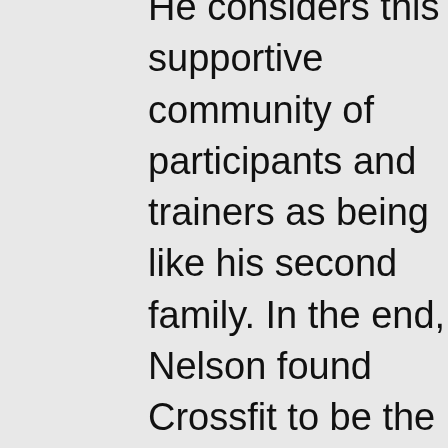He considers this supportive community of participants and trainers as being like his second family. In the end, Nelson found Crossfit to be the perfect solution that matched his fitness desires and goals.